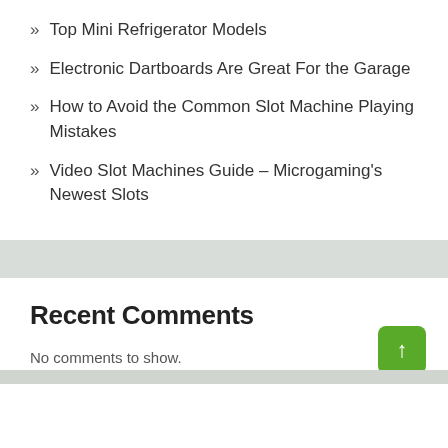Top Mini Refrigerator Models
Electronic Dartboards Are Great For the Garage
How to Avoid the Common Slot Machine Playing Mistakes
Video Slot Machines Guide – Microgaming's Newest Slots
Recent Comments
No comments to show.